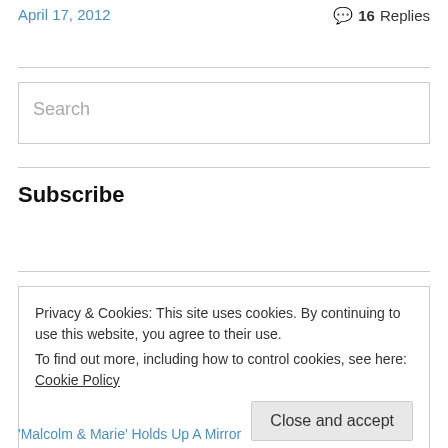April 17, 2012
16 Replies
Search
Subscribe
Subscribe to Thembisa Mshaka by Email
Privacy & Cookies: This site uses cookies. By continuing to use this website, you agree to their use. To find out more, including how to control cookies, see here: Cookie Policy
Close and accept
'Malcolm & Marie' Holds Up A Mirror